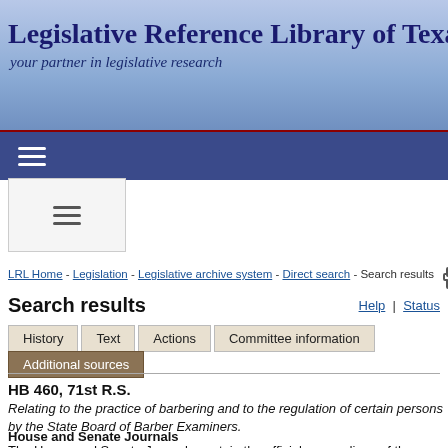Legislative Reference Library of Texas — your partner in legislative research
LRL Home - Legislation - Legislative archive system - Direct search - Search results
Search results
Help | Status
History | Text | Actions | Committee information | Additional sources
HB 460, 71st R.S.
Relating to the practice of barbering and to the regulation of certain persons by the State Board of Barber Examiners.
House and Senate Journals
The House and Senate Journals contain the official proceedings of the House of